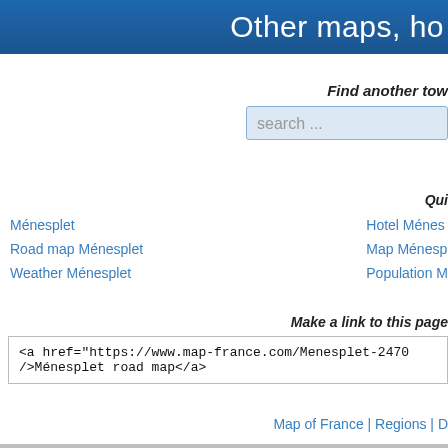Other maps, ho
Find another tow
search ...
Qui
Ménesplet
Road map Ménesplet
Weather Ménesplet
Hotel Ménes
Map Ménesp
Population M
Make a link to this page
<a href="https://www.map-france.com/Menesplet-2470
/>Ménesplet road map</a>
Map of France | Regions | D